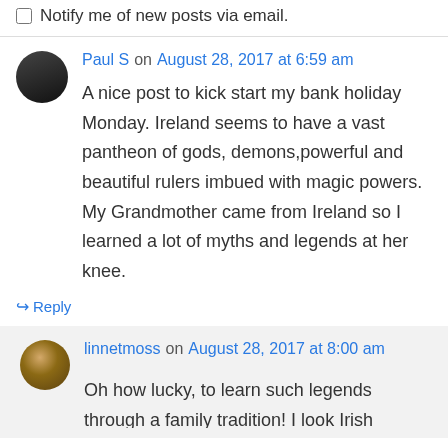Notify me of new posts via email.
Paul S on August 28, 2017 at 6:59 am
A nice post to kick start my bank holiday Monday. Ireland seems to have a vast pantheon of gods, demons,powerful and beautiful rulers imbued with magic powers. My Grandmother came from Ireland so I learned a lot of myths and legends at her knee.
↳ Reply
linnetmoss on August 28, 2017 at 8:00 am
Oh how lucky, to learn such legends through a family tradition! I look Irish